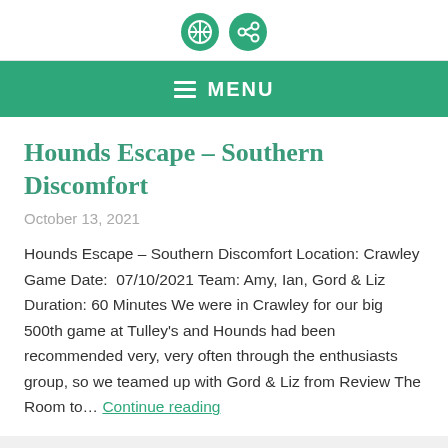[Figure (logo): Two green circular social media icons (globe and share/arrow) at top of page]
≡ MENU
Hounds Escape – Southern Discomfort
October 13, 2021
Hounds Escape – Southern Discomfort Location: Crawley Game Date:  07/10/2021 Team: Amy, Ian, Gord & Liz Duration: 60 Minutes We were in Crawley for our big 500th game at Tulley's and Hounds had been recommended very, very often through the enthusiasts group, so we teamed up with Gord & Liz from Review The Room to… Continue reading